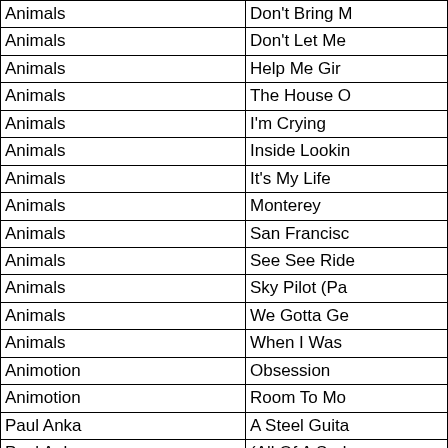| Artist | Song |
| --- | --- |
| Animals | Don't Bring Me |
| Animals | Don't Let Me |
| Animals | Help Me Gir |
| Animals | The House O |
| Animals | I'm Crying |
| Animals | Inside Lookin |
| Animals | It's My Life |
| Animals | Monterey |
| Animals | San Francisc |
| Animals | See See Ride |
| Animals | Sky Pilot (Pa |
| Animals | We Gotta Ge |
| Animals | When I Was |
| Animotion | Obsession |
| Animotion | Room To Mo |
| Paul Anka | A Steel Guita |
| Paul Anka | (All Of A Sud |
| Paul Anka | Anytime (I'll |
| Paul Anka | Crazy Love |
| Paul Anka | Dance On Li |
| Paul Anka | Diana |
| Paul Anka | Eso Beso (Th |
| Paul Anka | Goodnight M |
| Paul Anka | Hello Young |